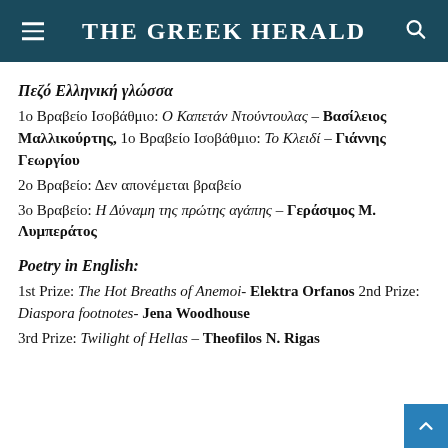THE GREEK HERALD
Πεζό Ελληνική γλώσσα
1ο Βραβείο Ισοβάθμιο: Ο Καπετάν Ντούντουλας – Βασίλειος Μαλλικούρτης, 1ο Βραβείο Ισοβάθμιο: Το Κλειδί – Γιάννης Γεωργίου
2ο Βραβείο: Δεν απονέμεται βραβείο
3ο Βραβείο: Η Δύναμη της πρώτης αγάπης – Γεράσιμος Μ. Λυμπεράτος
Poetry in English:
1st Prize: The Hot Breaths of Anemoi- Elektra Orfanos 2nd Prize: Diaspora footnotes- Jena Woodhouse
3rd Prize: Twilight of Hellas – Theofilos N. Rigas